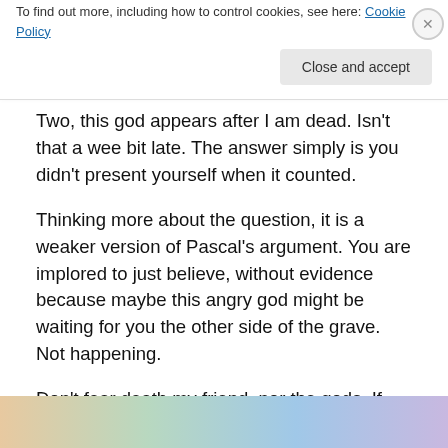of my forefather- indifferent. Or that of the Abrahamic faiths- petty, jealous and murderous?
Two, this god appears after I am dead. Isn't that a wee bit late. The answer simply is you didn't present yourself when it counted.
Thinking more about the question, it is a weaker version of Pascal's argument. You are implored to just believe, without evidence because maybe this angry god might be waiting for you the other side of the grave. Not happening.
Don't fear death my friend, nor the gods. If they exist and
Privacy & Cookies: This site uses cookies. By continuing to use this website, you agree to their use.
To find out more, including how to control cookies, see here: Cookie Policy
Close and accept